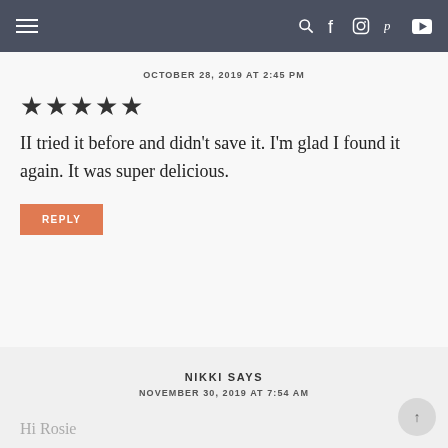navigation bar with menu and social icons
OCTOBER 28, 2019 AT 2:45 PM
★★★★★
II tried it before and didn't save it. I'm glad I found it again. It was super delicious.
REPLY
NIKKI SAYS
NOVEMBER 30, 2019 AT 7:54 AM
Hi Rosie
I have been trying to make a good